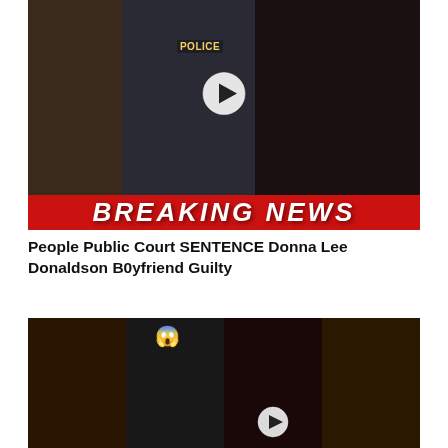[Figure (photo): Breaking news video thumbnail collage showing multiple people including a woman speaking, police officer in background, and a woman on the right, with a play button overlay and red 'BREAKING NEWS' banner at bottom]
People Public Court SENTENCE Donna Lee Donaldson B0yfriend Guilty
[Figure (photo): Grid of four photos showing different people including a woman pointing, a man in suit with emoji overlay, a woman with crown and sparkly outfit, and a woman with yellow hair, with a play button overlay]